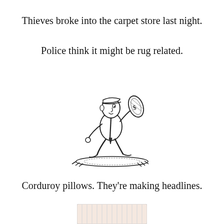Thieves broke into the carpet store last night.
Police think it might be rug related.
[Figure (illustration): Cartoon of a thief carrying a rolled-up rug/carpet under his arm while running, drawn in black and white line art style.]
Corduroy pillows. They’re making headlines.
[Figure (photo): Partial image of a corduroy pillow, only top portion visible at bottom of page.]